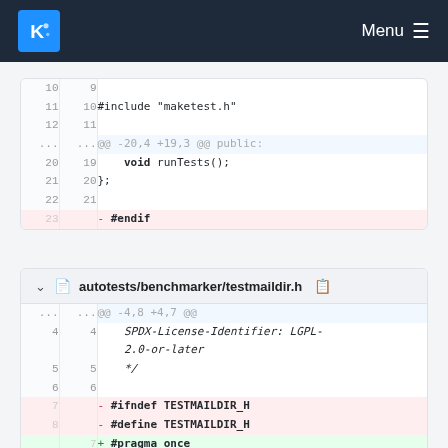KDE Menu
[Figure (screenshot): Code diff view showing two file diffs: first diff block shows lines 10-23 with deletion of #endif, second diff block shows autotests/benchmarker/testmaildir.h with deletions of #ifndef TESTMAILDIR_H and #define TESTMAILDIR_H, and addition of #pragma once]
autotests/benchmarker/testmaildir.h